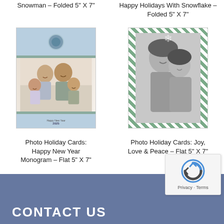Snowman – Folded 5" X 7"
Happy Holidays With Snowflake – Folded 5" X 7"
[Figure (photo): Holiday card showing a smiling family of four with light blue background and monogram seal – Happy New Year Monogram Flat card]
[Figure (photo): Holiday card showing two girls in black and white photo with green diagonal striped border – Joy Love & Peace Flat card]
Photo Holiday Cards: Happy New Year Monogram – Flat 5" X 7"
Photo Holiday Cards: Joy, Love & Peace – Flat 5" X 7"
CONTACT US